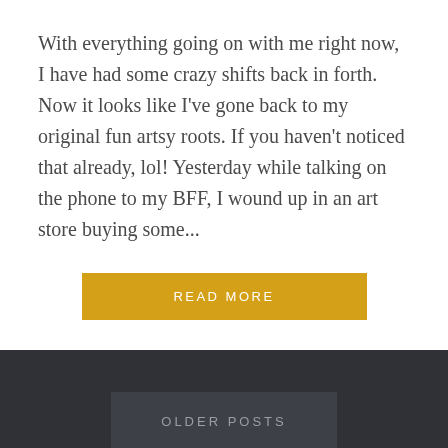With everything going on with me right now, I have had some crazy shifts back in forth.  Now it looks like I've gone back to my original fun artsy roots.  If you haven't noticed that already, lol!  Yesterday while talking on the phone to my BFF, I wound up in an art store buying some...
READ MORE
OLDER POSTS
FOLLOW BLOG VIA EMAIL
Enter your email address to follow this blog and receive